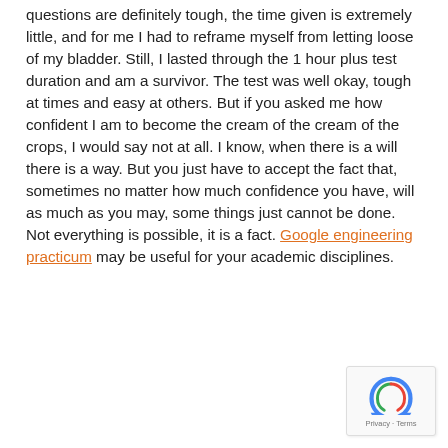questions are definitely tough, the time given is extremely little, and for me I had to reframe myself from letting loose of my bladder. Still, I lasted through the 1 hour plus test duration and am a survivor. The test was well okay, tough at times and easy at others. But if you asked me how confident I am to become the cream of the cream of the crops, I would say not at all. I know, when there is a will there is a way. But you just have to accept the fact that, sometimes no matter how much confidence you have, will as much as you may, some things just cannot be done. Not everything is possible, it is a fact. Google engineering practicum may be useful for your academic disciplines.
[Figure (other): reCAPTCHA widget with rotating arrows icon and Privacy · Terms text]